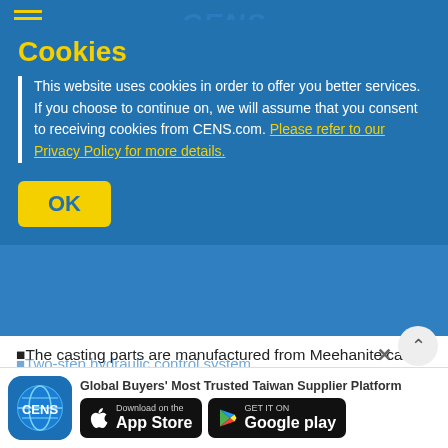CENS | Product List | Company Profiles
Cookies
This website uses cookies in order to offer you better services. If you choose to continue on, we will assume that you consent to receiving cookies from CENS.com. Please refer to our Privacy Policy for more details.
OK
The casting parts are manufactured from Meehanite cast iron and stress relieved to ensure the accuracy and stability of the milling head.
The slideway surfaces are hardened and precision ground, allowing accurate movement and maximum wear-resistance.
[Figure (logo): CENS app icon with globe logo]
Global Buyers' Most Trusted Taiwan Supplier Platform
[Figure (other): Download on the App Store button]
[Figure (other): Get it on Google Play button]
Two-step hydraulic control system.